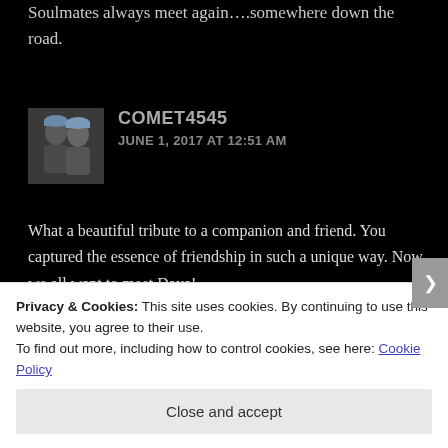Soulmates always meet again….somewhere down the road.
COMET4545
JUNE 1, 2017 AT 12:51 AM
[Figure (photo): Avatar photo of two people wearing beanies]
What a beautiful tribute to a companion and friend. You captured the essence of friendship in such a unique way. Now we all want to meet Daya!
That said, Theodore Jones is upset that he will likely not
Privacy & Cookies: This site uses cookies. By continuing to use this website, you agree to their use.
To find out more, including how to control cookies, see here: Cookie Policy
Close and accept